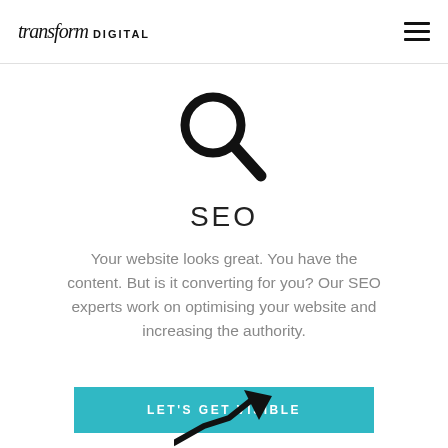transform DIGITAL
[Figure (illustration): Large black magnifying glass icon centered on page]
SEO
Your website looks great. You have the content. But is it converting for you? Our SEO experts work on optimising your website and increasing the authority.
LET'S GET VISIBLE
[Figure (illustration): Upward trending arrow/graph icon at bottom of page, partially visible]